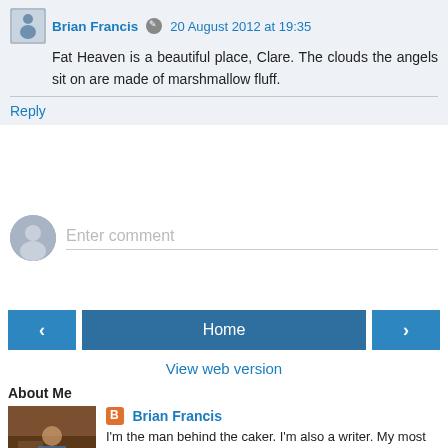Brian Francis  20 August 2012 at 19:35
Fat Heaven is a beautiful place, Clare. The clouds the angels sit on are made of marshmallow fluff.
Reply
Enter comment
Home
View web version
About Me
Brian Francis
I'm the man behind the caker. I'm also a writer. My most recent book is called Missed Connections. Visit